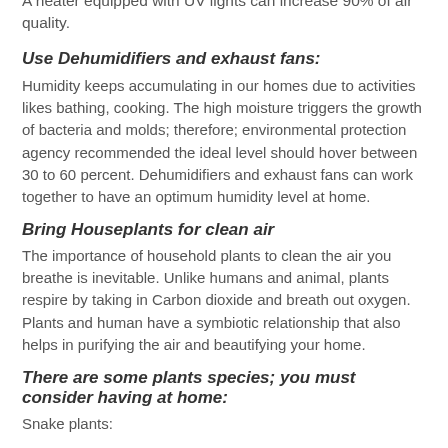A heater equipped with UV lights can increase 90% of air quality.
Use Dehumidifiers and exhaust fans:
Humidity keeps accumulating in our homes due to activities likes bathing, cooking. The high moisture triggers the growth of bacteria and molds; therefore; environmental protection agency recommended the ideal level should hover between 30 to 60 percent. Dehumidifiers and exhaust fans can work together to have an optimum humidity level at home.
Bring Houseplants for clean air
The importance of household plants to clean the air you breathe is inevitable. Unlike humans and animal, plants respire by taking in Carbon dioxide and breath out oxygen. Plants and human have a symbiotic relationship that also helps in purifying the air and beautifying your home.
There are some plants species; you must consider having at home:
Snake plants: